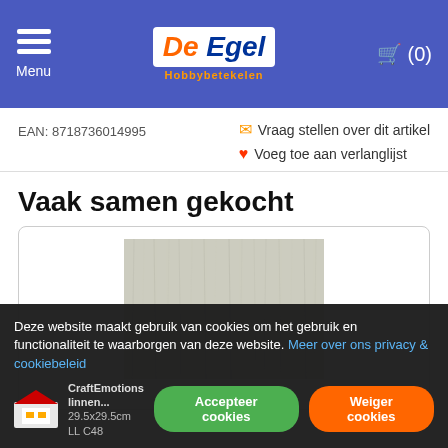Menu | De Egel Hobbybetekelen | Cart (0)
EAN: 8718736014995
Vraag stellen over dit artikel
Voeg toe aan verlanglijst
Vaak samen gekocht
[Figure (photo): Product image showing a light grey/silver textured surface, resembling linen or fabric texture]
Deze website maakt gebruik van cookies om het gebruik en functionaliteit te waarborgen van deze website. Meer over ons privacy & cookiebeleid
CraftEmotions linnen... 29.5x29.5cm LL C48
Accepteer cookies
Weiger cookies